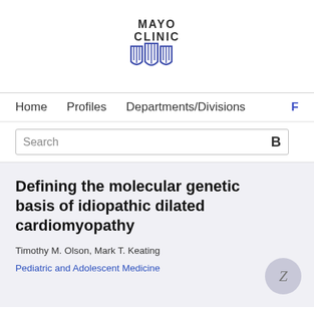[Figure (logo): Mayo Clinic logo with text MAYO CLINIC above a blue shield/crest emblem]
Home   Profiles   Departments/Divisions   F
Search
Defining the molecular genetic basis of idiopathic dilated cardiomyopathy
Timothy M. Olson, Mark T. Keating
Pediatric and Adolescent Medicine